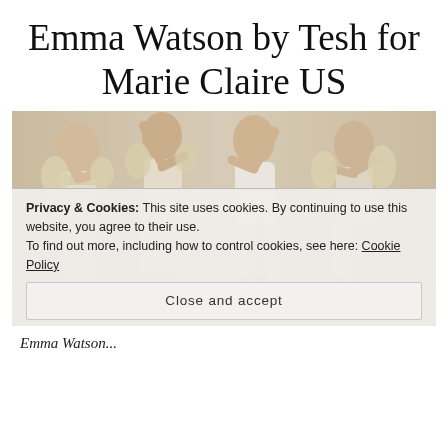Emma Watson by Tesh for Marie Claire US
[Figure (photo): Fashion photo shoot showing Emma Watson in four poses wearing white tops and light blue shorts with a floral/ruffled jacket, against a neutral background.]
Privacy & Cookies: This site uses cookies. By continuing to use this website, you agree to their use.
To find out more, including how to control cookies, see here: Cookie Policy
Close and accept
Emma Watson...